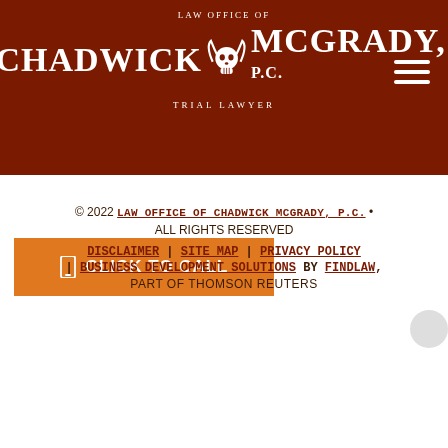[Figure (logo): Law Office of Chadwick McGrady, P.C. Trial Lawyer logo with bull skull and white text on dark red background]
[Figure (other): Orange click-to-call button with phone icon]
© 2022 LAW OFFICE OF CHADWICK MCGRADY, P.C. • ALL RIGHTS RESERVED DISCLAIMER | SITE MAP | PRIVACY POLICY | BUSINESS DEVELOPMENT SOLUTIONS BY FINDLAW, PART OF THOMSON REUTERS